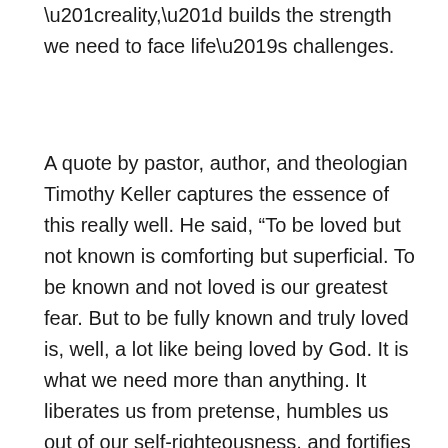“reality,” builds the strength we need to face life’s challenges.
A quote by pastor, author, and theologian Timothy Keller captures the essence of this really well. He said, “To be loved but not known is comforting but superficial. To be known and not loved is our greatest fear. But to be fully known and truly loved is, well, a lot like being loved by God. It is what we need more than anything. It liberates us from pretense, humbles us out of our self-righteousness, and fortifies us for any difficulty life can throw at us.” He’s saying that the more we are fully known by God and others (good and bad parts alike), the more whole we become. As early as the garden of Eden